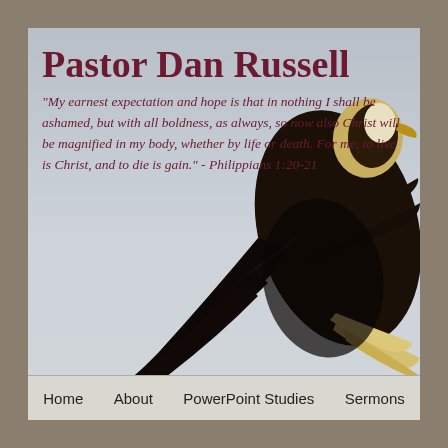Pastor Dan Russell
"My earnest expectation and hope is that in nothing I shall be ashamed, but with all boldness, as always, so now also Christ will be magnified in my body, whether by life or death. For me, to live is Christ, and to die is gain." - Philippians 1:20-21
[Figure (photo): A bald eagle photographed from below against a pale grey sky, with wings spread, showing dark feathers and white tail feathers.]
Home    About    PowerPoint Studies    Sermons